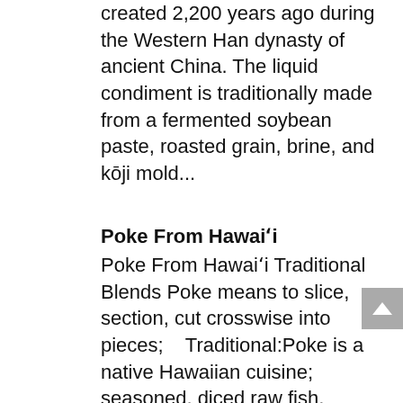created 2,200 years ago during the Western Han dynasty of ancient China. The liquid condiment is traditionally made from a fermented soybean paste, roasted grain, brine, and kōji mold...
Poke From Hawai'i
Poke From Hawai'i Traditional Blends Poke means to slice, section, cut crosswise into pieces;   Traditional:Poke is a native Hawaiian cuisine; seasoned, diced raw fish, octopus, and/or shellfish. Traditional poke served sliced, cubed, or smashed is seasoned and...
'Ono Kaukau: Spam Musubi
'Ono Kaukau: Spam Musubi Spam Musubi Derived from Japanese onigiri